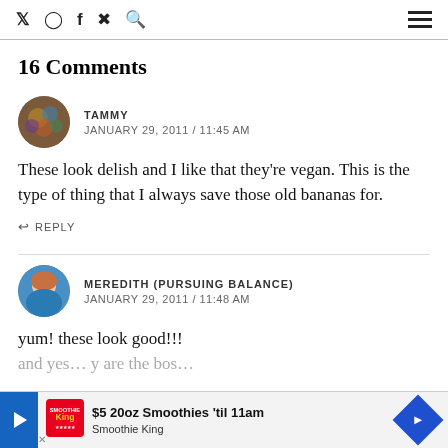Social icons: Twitter, Instagram, Facebook, Pinterest, Search | Hamburger menu
16 Comments
TAMMY
JANUARY 29, 2011 / 11:45 AM
These look delish and I like that they're vegan. This is the type of thing that I always save those old bananas for.
↩ REPLY
MEREDITH (PURSUING BALANCE)
JANUARY 29, 2011 / 11:48 AM
yum! these look good!!! and yes... y are the bos...
[Figure (infographic): Advertisement banner: $5 20oz Smoothies 'til 11am - Smoothie King, with play button and navigation arrow]